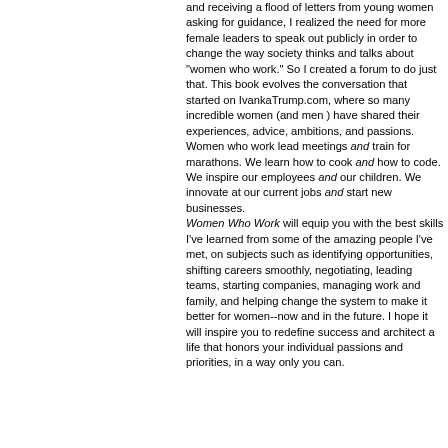and receiving a flood of letters from young women asking for guidance, I realized the need for more female leaders to speak out publicly in order to change the way society thinks and talks about "women who work." So I created a forum to do just that. This book evolves the conversation that started on IvankaTrump.com, where so many incredible women (and men ) have shared their experiences, advice, ambitions, and passions.
Women who work lead meetings and train for marathons. We learn how to cook and how to code. We inspire our employees and our children. We innovate at our current jobs and start new businesses.
Women Who Work will equip you with the best skills I've learned from some of the amazing people I've met, on subjects such as identifying opportunities, shifting careers smoothly, negotiating, leading teams, starting companies, managing work and family, and helping change the system to make it better for women--now and in the future. I hope it will inspire you to redefine success and architect a life that honors your individual passions and priorities, in a way only you can.